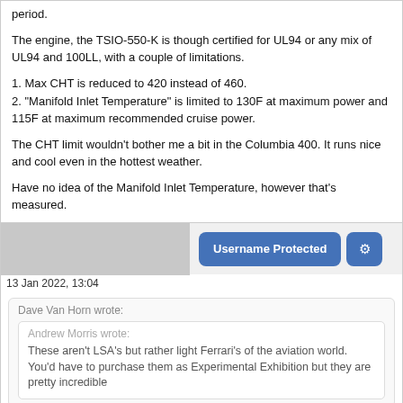period.
The engine, the TSIO-550-K is though certified for UL94 or any mix of UL94 and 100LL, with a couple of limitations.
1. Max CHT is reduced to 420 instead of 460.
2. "Manifold Inlet Temperature" is limited to 130F at maximum power and 115F at maximum recommended cruise power.
The CHT limit wouldn't bother me a bit in the Columbia 400. It runs nice and cool even in the hottest weather.
Have no idea of the Manifold Inlet Temperature, however that's measured.
Username Protected
13 Jan 2022, 13:04
Dave Van Horn wrote:
Andrew Morris wrote: These aren't LSA's but rather light Ferrari's of the aviation world. You'd have to purchase them as Experimental Exhibition but they are pretty incredible
I've been following these for a while but the Exp/Exhibition limitations are a deal killer. However, several of these European hotrods, including the VL3, advertise on their websites a factory build program similar to that of CubCrafters here in the US: you build 51% of your plane at their factory, with their workers (and a translator), then ship it to the US where it registers as Exp/Amateur Built, with the same freedoms as any other homebuilt. To me, that seems like the way to go but I